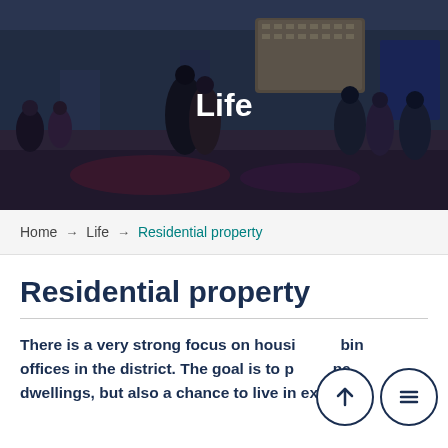[Figure (photo): Hero photo of people dancing outdoors in a city square with a tall cylindrical building in the background at dusk. Title 'Life' overlaid in white bold text.]
Home → Life → Residential property
Residential property
There is a very strong focus on housing combined with offices in the district. The goal is to provide new dwellings, but also a chance to live in existing